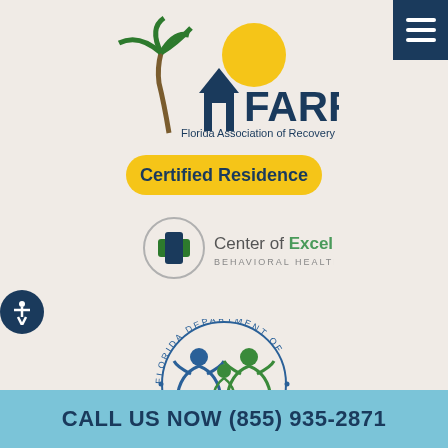[Figure (logo): FARR - Florida Association of Recovery Residences logo with palm tree, house, and sun graphic, with 'Certified Residence' badge in yellow]
[Figure (logo): Center of Excellence Behavioral Health logo with medical cross in circle]
[Figure (logo): Florida Department of Children and Families seal with human figures]
CALL US NOW (855) 935-2871